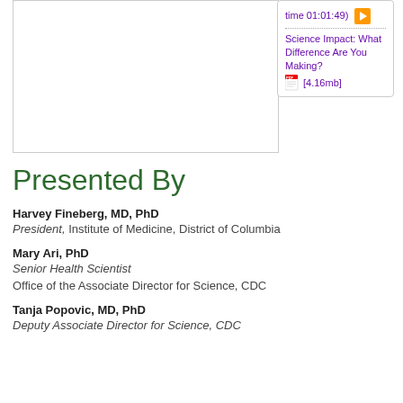[Figure (screenshot): Video player thumbnail area (white/blank) with a play button and time display 01:01:49 in the sidebar, and a link to 'Science Impact: What Difference Are You Making?' with a PDF download [4.16mb]]
Presented By
Harvey Fineberg, MD, PhD
President, Institute of Medicine, District of Columbia
Mary Ari, PhD
Senior Health Scientist
Office of the Associate Director for Science, CDC
Tanja Popovic, MD, PhD
Deputy Associate Director for Science, CDC